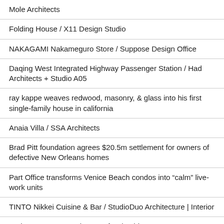Mole Architects
Folding House / X11 Design Studio
NAKAGAMI Nakameguro Store / Suppose Design Office
Daqing West Integrated Highway Passenger Station / Had Architects + Studio A05
ray kappe weaves redwood, masonry, & glass into his first single-family house in california
Anaia Villa / SSA Architects
Brad Pitt foundation agrees $20.5m settlement for owners of defective New Orleans homes
Part Office transforms Venice Beach condos into “calm” live-work units
TINTO Nikkei Cuisine & Bar / StudioDuo Architecture | Interior
Andres Jaque Named Dean of Columbia GSAPP
9th Avenue Parkade + Innovation Center / 5468796